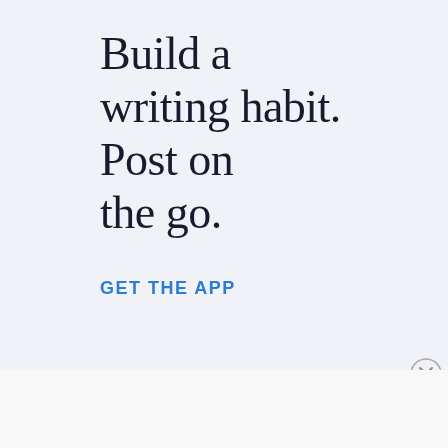Build a writing habit. Post on the go.
GET THE APP
Advertisements
[Figure (illustration): WordPress.com advertisement banner with gradient purple-blue background, text 'Simplified pricing for everything you need.' and WordPress.com logo on the right.]